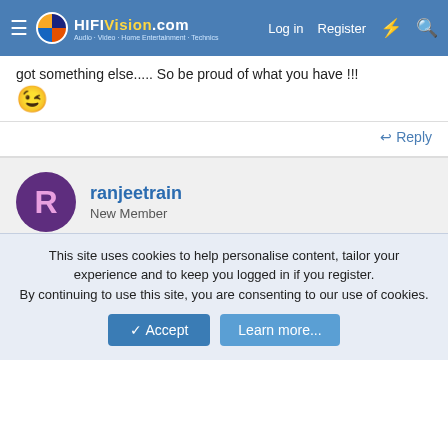HIFIVision.com | Log in | Register
got something else..... So be proud of what you have !!!
😉
↩ Reply
ranjeetrain
New Member
Mar 31, 2008  #9
Re: Rated by whom ????
SHANTI said:  ↑
This site uses cookies to help personalise content, tailor your experience and to keep you logged in if you register.
By continuing to use this site, you are consenting to our use of cookies.
✓ Accept   Learn more...